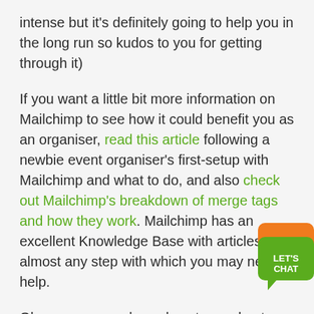intense but it's definitely going to help you in the long run so kudos to you for getting through it)
If you want a little bit more information on Mailchimp to see how it could benefit you as an organiser, read this article following a newbie event organiser's first-setup with Mailchimp and what to do, and also check out Mailchimp's breakdown of merge tags and how they work. Mailchimp has an excellent Knowledge Base with articles on almost any step with which you may need help.
Okay, so we now know how to send out emails to our exclusive guestlist… Are there any more key tricks that could be used? What about sharing the event link on social media? When a ticket